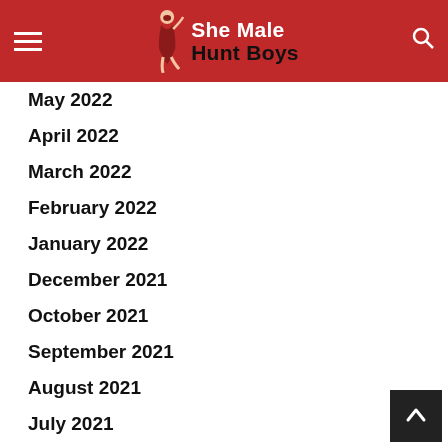She Male Hunt Boys
May 2022
April 2022
March 2022
February 2022
January 2022
December 2021
October 2021
September 2021
August 2021
July 2021
June 2021
April 2021
January 2021
December 2020